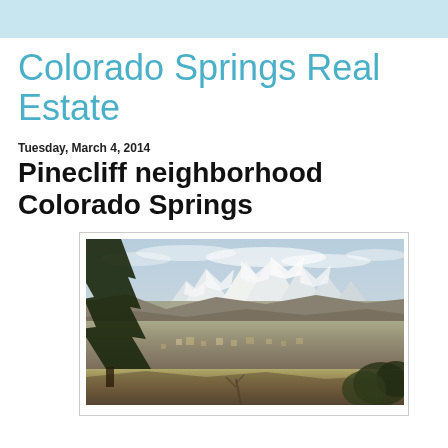Colorado Springs Real Estate
Tuesday, March 4, 2014
Pinecliff neighborhood Colorado Springs
[Figure (photo): Outdoor landscape photo showing pine trees in the foreground on the left, a broad valley with scattered buildings in the middle ground, and snow-capped mountains (Pikes Peak area) under a partly cloudy sky in the background.]